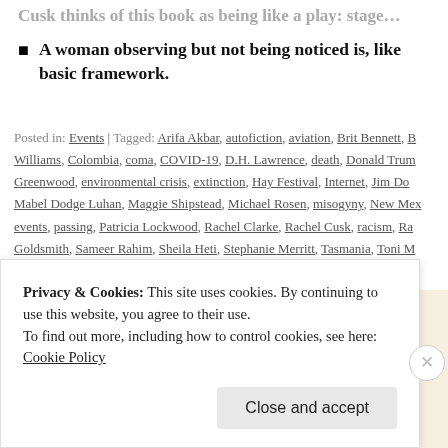A woman observing but not being noticed is, like basic framework.
Posted in: Events | Tagged: Arifa Akbar, autofiction, aviation, Brit Bennett, B Williams, Colombia, coma, COVID-19, D.H. Lawrence, death, Donald Trum Greenwood, environmental crisis, extinction, Hay Festival, Internet, Jim Do Mabel Dodge Luhan, Maggie Shipstead, Michael Rosen, misogyny, New Mex events, passing, Patricia Lockwood, Rachel Clarke, Rachel Cusk, racism, Ra Goldsmith, Sameer Rahim, Sheila Heti, Stephanie Merritt, Tasmania, Toni M Women's Prize
Privacy & Cookies: This site uses cookies. By continuing to use this website, you agree to their use. To find out more, including how to control cookies, see here: Cookie Policy